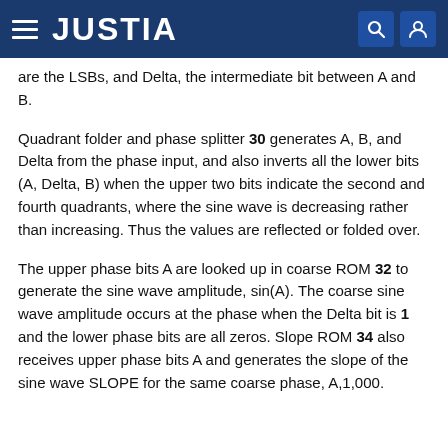JUSTIA
are the LSBs, and Delta, the intermediate bit between A and B.
Quadrant folder and phase splitter 30 generates A, B, and Delta from the phase input, and also inverts all the lower bits (A, Delta, B) when the upper two bits indicate the second and fourth quadrants, where the sine wave is decreasing rather than increasing. Thus the values are reflected or folded over.
The upper phase bits A are looked up in coarse ROM 32 to generate the sine wave amplitude, sin(A). The coarse sine wave amplitude occurs at the phase when the Delta bit is 1 and the lower phase bits are all zeros. Slope ROM 34 also receives upper phase bits A and generates the slope of the sine wave SLOPE for the same coarse phase, A,1,000.